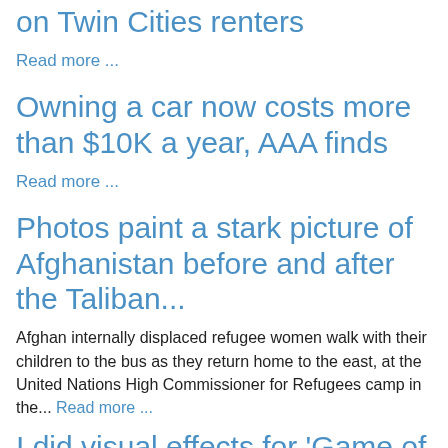on Twin Cities renters
Read more ...
Owning a car now costs more than $10K a year, AAA finds
Read more ...
Photos paint a stark picture of Afghanistan before and after the Taliban...
Afghan internally displaced refugee women walk with their children to the bus as they return home to the east, at the United Nations High Commissioner for Refugees camp in the... Read more ...
I did visual effects for 'Game of Thrones,' including the Battle of...
"Game of Thrones" won several Emmys while Alon Zaslavsky worked as a visual-effects artist. HBO Alon Zaslavsky, 46, was a